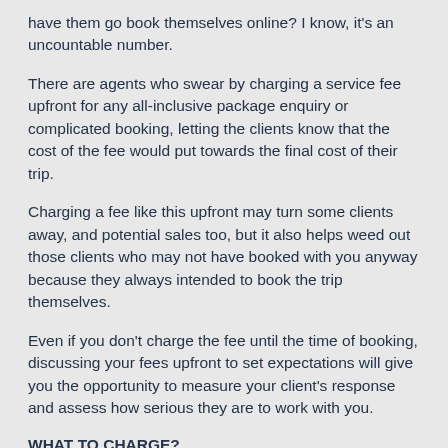have them go book themselves online? I know, it's an uncountable number.
There are agents who swear by charging a service fee upfront for any all-inclusive package enquiry or complicated booking, letting the clients know that the cost of the fee would put towards the final cost of their trip.
Charging a fee like this upfront may turn some clients away, and potential sales too, but it also helps weed out those clients who may not have booked with you anyway because they always intended to book the trip themselves.
Even if you don't charge the fee until the time of booking, discussing your fees upfront to set expectations will give you the opportunity to measure your client's response and assess how serious they are to work with you.
WHAT TO CHARGE?
I know some agents who break down their fees by enquiry type, charging a different fee for domestic airfare vs. a cruise, for example.